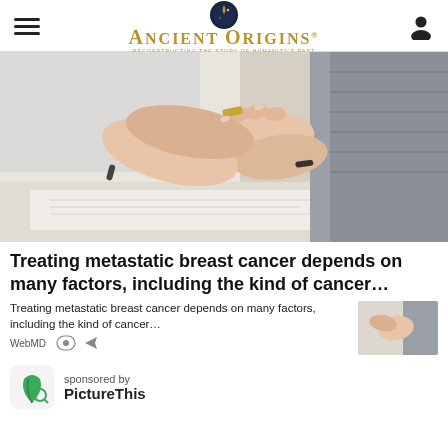Ancient Origins — Reconstructing the Story of Humanity's Past
[Figure (photo): Close-up of a doctor or caregiver holding a patient's hand over paperwork on a desk; patient wearing grey knitted sweater sleeve]
Treating metastatic breast cancer depends on many factors, including the kind of cancer…
Treating metastatic breast cancer depends on many factors, including the kind of cancer…
WebMD
[Figure (photo): Small thumbnail image of hands holding, matching the hero image]
sponsored by PictureThis